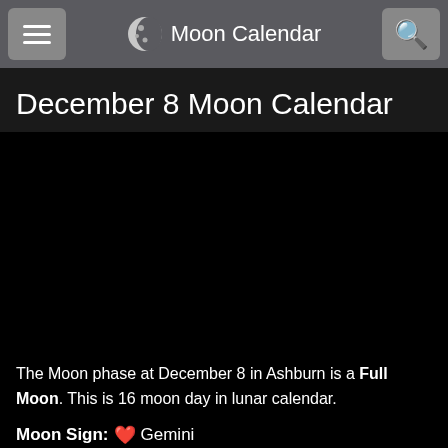Moon Calendar
December 8 Moon Calendar
[Figure (photo): Dark/black area representing a moon phase image area, appears as a large black rectangle]
The Moon phase at December 8 in Ashburn is a Full Moon. This is 16 moon day in lunar calendar.
Moon Sign: ♉ Gemini